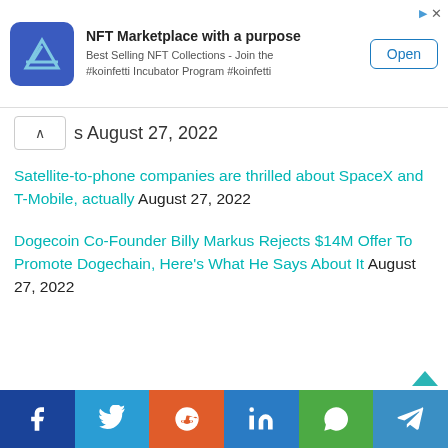[Figure (screenshot): NFT Marketplace advertisement banner with blue icon, title 'NFT Marketplace with a purpose', subtitle text, and Open button]
s August 27, 2022
Satellite-to-phone companies are thrilled about SpaceX and T-Mobile, actually August 27, 2022
Dogecoin Co-Founder Billy Markus Rejects $14M Offer To Promote Dogechain, Here's What He Says About It August 27, 2022
[Figure (infographic): Social media share bar with Facebook, Twitter, Reddit, LinkedIn, WhatsApp, Telegram buttons]